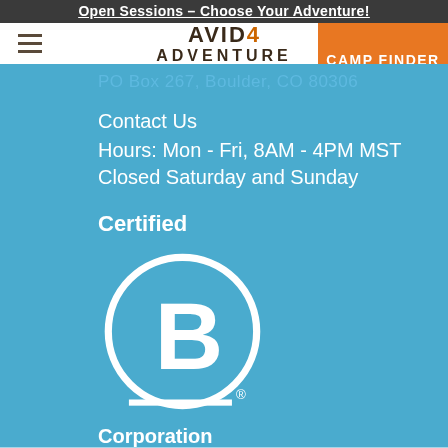Open Sessions – Choose Your Adventure!
[Figure (logo): Avid 4 Adventure logo with hamburger menu and Camp Finder button]
PO Box 267, Boulder, CO 80306
Contact Us
Hours: Mon - Fri, 8AM - 4PM MST
Closed Saturday and Sunday
Certified
[Figure (logo): Certified B Corporation logo — circle with letter B and horizontal line underneath]
Corporation